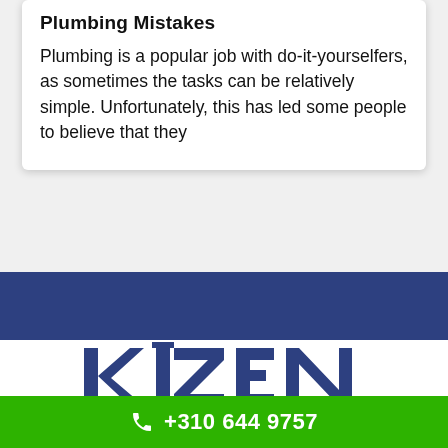Plumbing Mistakes
Plumbing is a popular job with do-it-yourselfers, as sometimes the tasks can be relatively simple. Unfortunately, this has led some people to believe that they
[Figure (logo): KIZEN company logo in dark blue bold text with a bar above the I, on white background below a dark blue band]
+310 644 9757